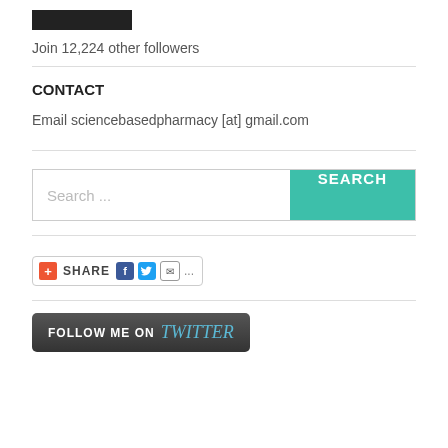[Figure (other): Black rectangular bar (decorative/image placeholder)]
Join 12,224 other followers
CONTACT
Email sciencebasedpharmacy [at] gmail.com
[Figure (other): Search bar with teal SEARCH button]
[Figure (other): Social share widget with Facebook, Twitter, email icons]
[Figure (other): FOLLOW ME ON twitter button]